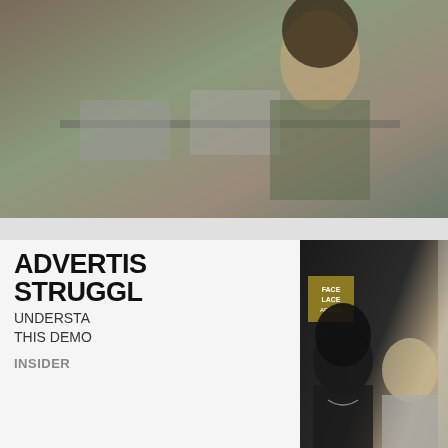[Figure (photo): Photo of people working at computers in an office/classroom setting, woman with dark hair prominently visible]
[Figure (photo): Collage of music/fashion photos including a shirtless artist with dreadlocks and necklace, another person in gray blazer, and a face graphic with Face Lace Africa logo]
ADVERTISING STRUGGLES
UNDERSTANDING THIS DEMO
INSIDER
We use cookies to collect and analyse information on site performance and usage, and to enhance and customise content and advertising...
[Figure (infographic): SmartPak advertisement banner: 50% Off Two Months of ColiCare, ColiCare Eligible Supplements, CODE: COLICARE10. Blue background with horse and woman photo. Shop Now button.]